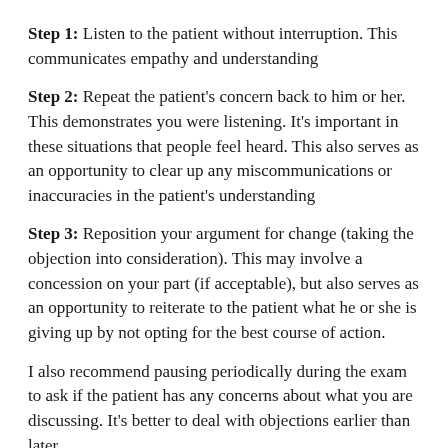Step 1: Listen to the patient without interruption. This communicates empathy and understanding
Step 2: Repeat the patient's concern back to him or her. This demonstrates you were listening. It's important in these situations that people feel heard. This also serves as an opportunity to clear up any miscommunications or inaccuracies in the patient's understanding
Step 3: Reposition your argument for change (taking the objection into consideration). This may involve a concession on your part (if acceptable), but also serves as an opportunity to reiterate to the patient what he or she is giving up by not opting for the best course of action.
I also recommend pausing periodically during the exam to ask if the patient has any concerns about what you are discussing. It's better to deal with objections earlier than later.